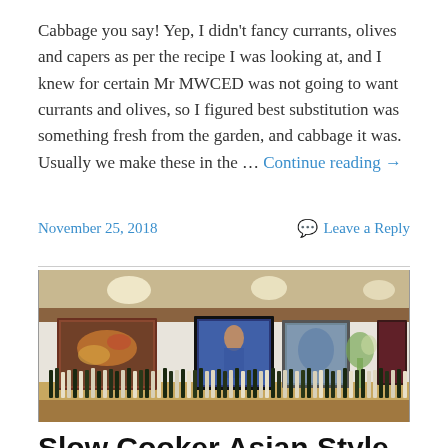Cabbage you say!  Yep,  I didn't fancy currants, olives and capers as per the recipe I was looking at, and I knew for certain Mr MWCED was not going to want currants and olives, so I figured best substitution was something fresh from the garden, and cabbage it was. Usually we make these in the … Continue reading →
November 25, 2018
Leave a Reply
[Figure (photo): Interior of a restaurant or wine bar with paintings on the white wall and bottles of wine lined up on a counter. Artworks visible include colorful figurative paintings. Warm lighting from ceiling spotlights.]
Slow Cooker Asian Style Glazed Chicken